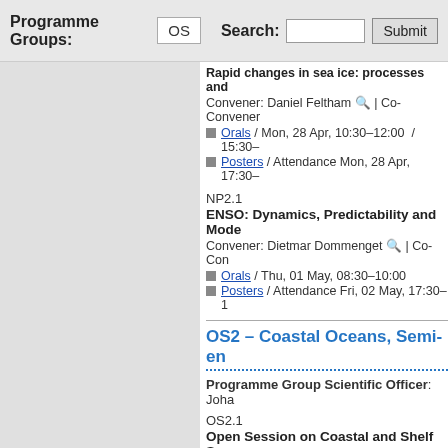Programme Groups: OS   Search:   Submit
Rapid changes in sea ice: processes and... Convener: Daniel Feltham 🔍 | Co-Convener...
Orals / Mon, 28 Apr, 10:30–12:00  / 15:30–
Posters / Attendance Mon, 28 Apr, 17:30–
NP2.1
ENSO: Dynamics, Predictability and Mode...
Convener: Dietmar Dommenget 🔍 | Co-Con...
Orals / Thu, 01 May, 08:30–10:00
Posters / Attendance Fri, 02 May, 17:30–1
OS2 – Coastal Oceans, Semi-en...
Programme Group Scientific Officer: Joha...
OS2.1
Open Session on Coastal and Shelf Seas...
Convener: Johan van der Molen 🔍 | Co-Con...
Orals / Wed, 30 Apr, 08:30–12:00
Posters / Attendance Tue, 29 Apr, 17:30–1
Poster Summaries & Discussions: PSD2.1
OS2.2
Advances in understanding of the multi-d...
Convener: Samuel Somot 🔍 | Co-Conveners...
Orals / Wed, 30 Apr, 13:30–17:00
Posters / Attendance Wed, 30 Apr, 17:30